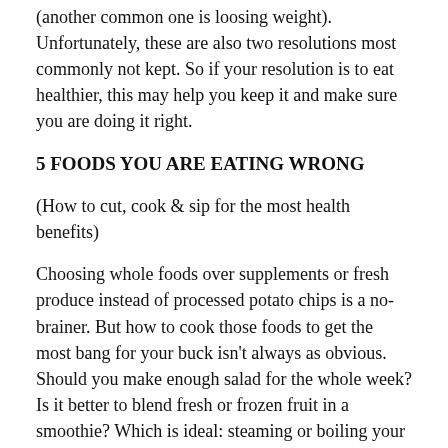(another common one is loosing weight). Unfortunately, these are also two resolutions most commonly not kept. So if your resolution is to eat healthier, this may help you keep it and make sure you are doing it right.
5 FOODS YOU ARE EATING WRONG
(How to cut, cook & sip for the most health benefits)
Choosing whole foods over supplements or fresh produce instead of processed potato chips is a no-brainer. But how to cook those foods to get the most bang for your buck isn't always as obvious. Should you make enough salad for the whole week? Is it better to blend fresh or frozen fruit in a smoothie? Which is ideal: steaming or boiling your vegetables?
The short answer is that the healthiest cooking s...